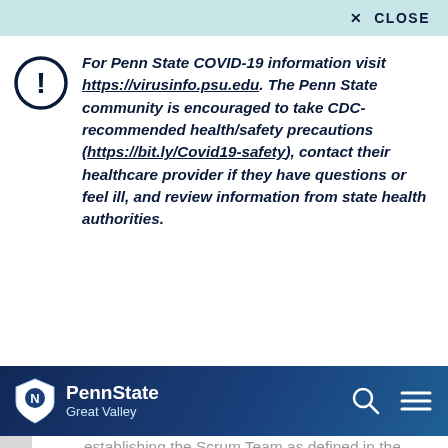✕ CLOSE
For Penn State COVID-19 information visit https://virusinfo.psu.edu. The Penn State community is encouraged to take CDC-recommended health/safety precautions (https://bit.ly/Covid19-safety), contact their healthcare provider if they have questions or feel ill, and review information from state health authorities.
[Figure (logo): Penn State Great Valley logo with shield mascot and navigation icons (search, hamburger menu) on dark blue background]
establishing the Scrum Team as defined in the Scrum Guide. In addition to the collective knowledge and experience of the Guides community, Scrum Alliance has adopted The Definitive Guide to Scrum: The Rules of the Game as the guiding curriculum for certified Scrum